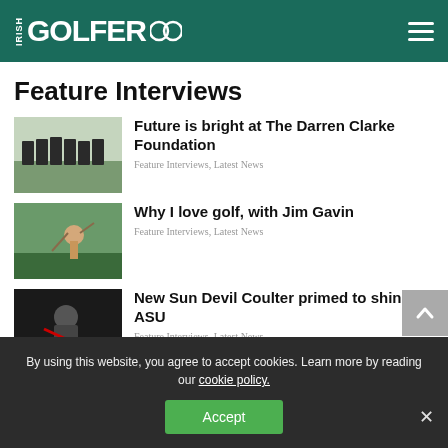IRISH GOLFER
Feature Interviews
Future is bright at The Darren Clarke Foundation
Feature Interviews, Latest News
Why I love golf, with Jim Gavin
Feature Interviews, Latest News
New Sun Devil Coulter primed to shine at ASU
Feature Interviews, Latest News
Michael Hoey is playing life's long game
By using this website, you agree to accept cookies. Learn more by reading our cookie policy.